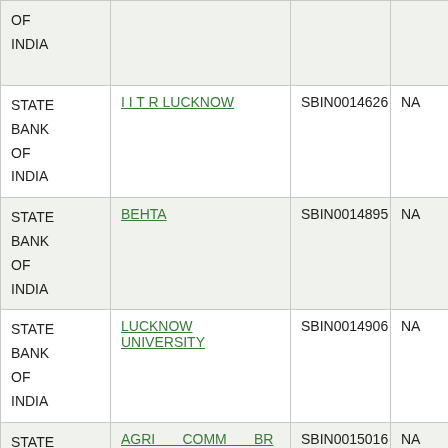| Bank | Branch | IFSC | MICR |
| --- | --- | --- | --- |
| STATE BANK OF INDIA |  |  |  |
| STATE BANK OF INDIA | I I T R LUCKNOW | SBIN0014626 | NA |
| STATE BANK OF INDIA | BEHTA | SBIN0014895 | NA |
| STATE BANK OF INDIA | LUCKNOW UNIVERSITY | SBIN0014906 | NA |
| STATE BANK OF INDIA | AGRI COMM BR LUCKNOW | SBIN0015016 | NA |